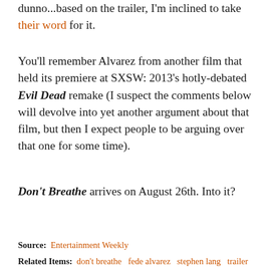dunno...based on the trailer, I'm inclined to take their word for it.
You'll remember Alvarez from another film that held its premiere at SXSW: 2013's hotly-debated Evil Dead remake (I suspect the comments below will devolve into yet another argument about that film, but then I expect people to be arguing over that one for some time).
Don't Breathe arrives on August 26th. Into it?
Source: Entertainment Weekly
Related Items: don't breathe   fede alvarez   stephen lang   trailer